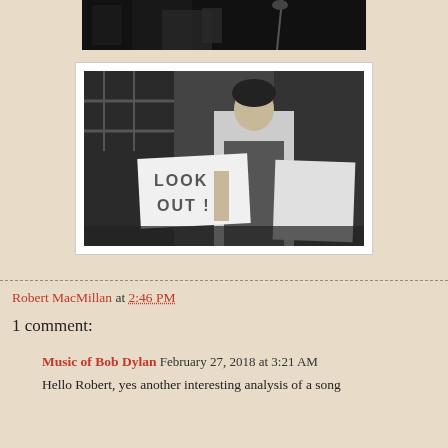[Figure (photo): Top portion of a black and white concert photo, partially cropped at top of page]
[Figure (photo): Black and white photograph of Bob Dylan holding a sign that reads 'LOOK OUT!' in an alley or street setting, displayed in a white frame]
Robert MacMillan at 2:46 PM
1 comment:
Music of Bob Dylan  February 27, 2018 at 3:21 AM
Hello Robert, yes another interesting analysis of a song